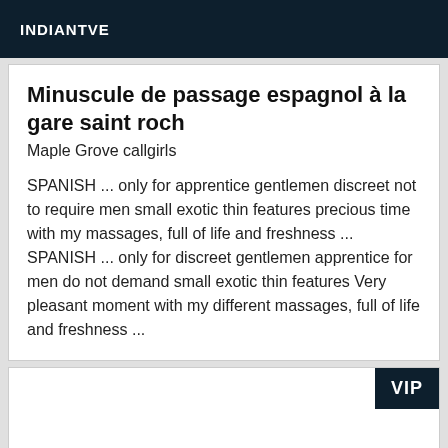INDIANTVE
Minuscule de passage espagnol à la gare saint roch
Maple Grove callgirls
SPANISH ... only for apprentice gentlemen discreet not to require men small exotic thin features precious time with my massages, full of life and freshness ... SPANISH ... only for discreet gentlemen apprentice for men do not demand small exotic thin features Very pleasant moment with my different massages, full of life and freshness ...
VIP